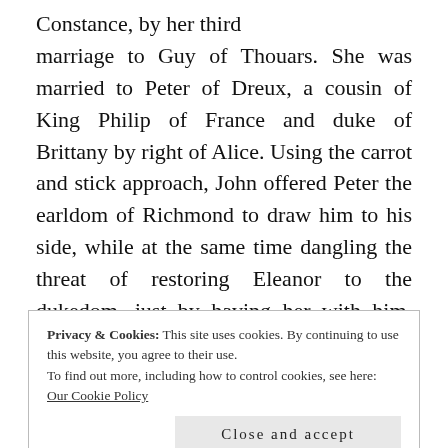Constance, by her third marriage to Guy of Thouars. She was married to Peter of Dreux, a cousin of King Philip of France and duke of Brittany by right of Alice. Using the carrot and stick approach, John offered Peter the earldom of Richmond to draw him to his side, while at the same time dangling the threat of restoring Eleanor to the dukedom, just by having her with him. Peter, however, refused to be threatened or persuaded and chose to face John in the field at Nantes. John's victory and capture of Peter's brother in the fighting persuaded Peter to agree to a truce,
Privacy & Cookies: This site uses cookies. By continuing to use this website, you agree to their use. To find out more, including how to control cookies, see here: Our Cookie Policy
Close and accept
and she was closely guarded. Her guards were changed